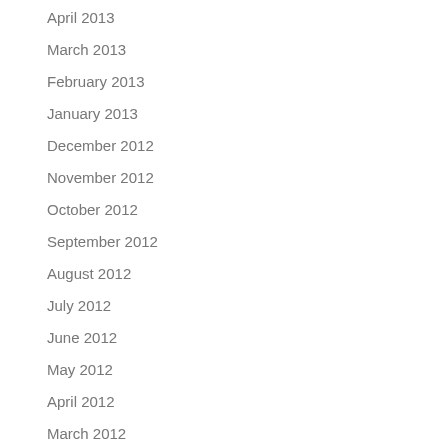April 2013
March 2013
February 2013
January 2013
December 2012
November 2012
October 2012
September 2012
August 2012
July 2012
June 2012
May 2012
April 2012
March 2012